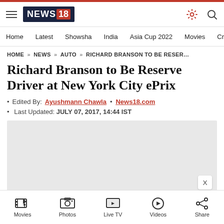NEWS18 - Home | Latest | Showsha | India | Asia Cup 2022 | Movies | Cricket
HOME » NEWS » AUTO » RICHARD BRANSON TO BE RESERVE DRIVER...
Richard Branson to Be Reserve Driver at New York City ePrix
Edited By: Ayushmann Chawla • News18.com
Last Updated: JULY 07, 2017, 14:44 IST
[Figure (other): Gray image placeholder with close (X) button]
Movies | Photos | Live TV | Videos | Share